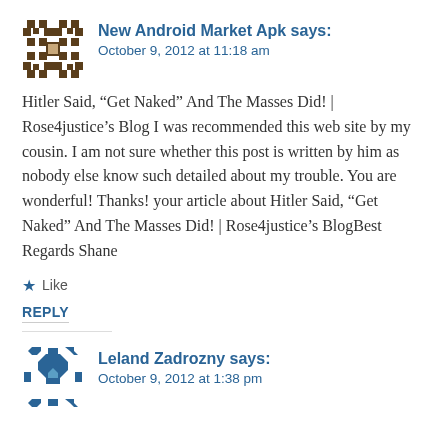[Figure (illustration): Decorative avatar icon with brown geometric/mosaic pattern for New Android Market Apk commenter]
New Android Market Apk says:
October 9, 2012 at 11:18 am
Hitler Said, “Get Naked” And The Masses Did! | Rose4justice’s Blog I was recommended this web site by my cousin. I am not sure whether this post is written by him as nobody else know such detailed about my trouble. You are wonderful! Thanks! your article about Hitler Said, “Get Naked” And The Masses Did! | Rose4justice’s BlogBest Regards Shane
★ Like
REPLY
[Figure (illustration): Decorative avatar icon with blue geometric/mosaic pattern for Leland Zadrozny commenter]
Leland Zadrozny says:
October 9, 2012 at 1:38 pm